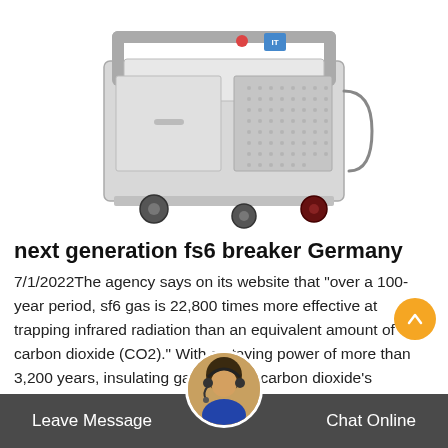[Figure (photo): Industrial SF6 gas recovery/handling unit on wheels — a grey metal cart with perforated mesh panels, handles, castors, and a small control panel on top with indicator lights and a blue logo.]
next generation fs6 breaker Germany
7/1/2022The agency says on its website that "over a 100-year period, sf6 gas is 22,800 times more effective at trapping infrared radiation than an equivalent amount of carbon dioxide (CO2)." With a staying power of more than 3,200 years, insulating gas outlasts carbon dioxide's 1,600 longevity. At least photosynthesis reduces CO2's atmospheric life to just
Leave Message   Chat Online